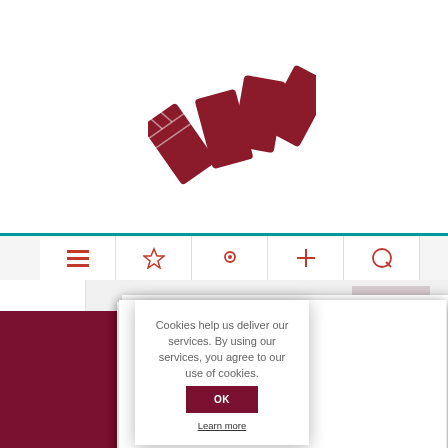[Figure (logo): Four dark red chocolate bar pieces scattered/fanned out on white background - logo of a confectionery website]
Cookies help us deliver our services. By using our services, you agree to our use of cookies.
OK
Learn more
eira
[Figure (infographic): Dark red/maroon footer bar with Twitter bird icon, Facebook f icon, and YouTube logo icon centered; a light pinkish-grey back-to-top button with double chevron up arrow in bottom right corner]